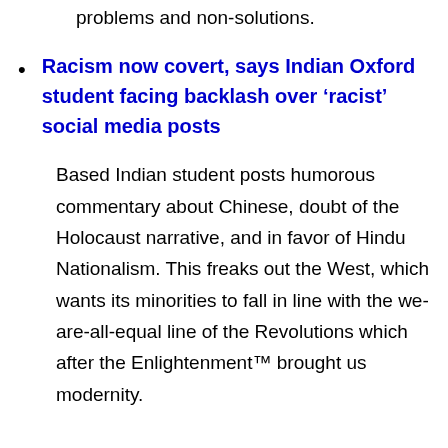problems and non-solutions.
Racism now covert, says Indian Oxford student facing backlash over ‘racist’ social media posts
Based Indian student posts humorous commentary about Chinese, doubt of the Holocaust narrative, and in favor of Hindu Nationalism. This freaks out the West, which wants its minorities to fall in line with the we-are-all-equal line of the Revolutions which after the Enlightenment™ brought us modernity.